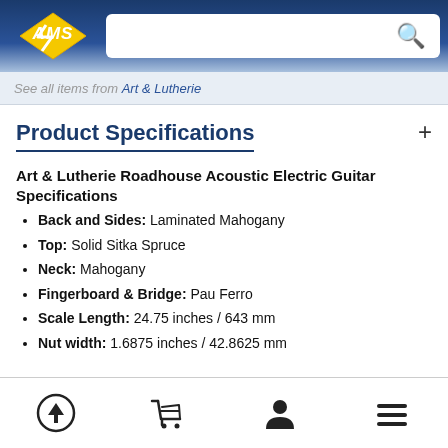AMS logo and search bar
See all items from Art & Lutherie
Product Specifications
Art & Lutherie Roadhouse Acoustic Electric Guitar Specifications
Back and Sides: Laminated Mahogany
Top: Solid Sitka Spruce
Neck: Mahogany
Fingerboard & Bridge: Pau Ferro
Scale Length: 24.75 inches / 643 mm
Nut width: 1.6875 inches / 42.8625 mm
Navigation icons: back to top, cart, account, menu